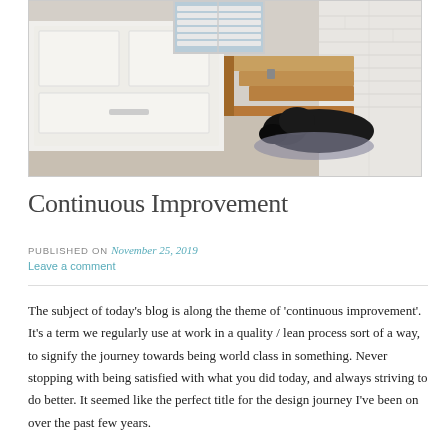[Figure (photo): Interior photo of a home entryway/mudroom with white built-in storage cabinets, wooden staircase steps, plantation shutters, and a black dog lying on a dog bed on the floor. White brick wall visible on the right.]
Continuous Improvement
PUBLISHED ON November 25, 2019
Leave a comment
The subject of today's blog is along the theme of 'continuous improvement'. It's a term we regularly use at work in a quality / lean process sort of a way, to signify the journey towards being world class in something. Never stopping with being satisfied with what you did today, and always striving to do better. It seemed like the perfect title for the design journey I've been on over the past few years.